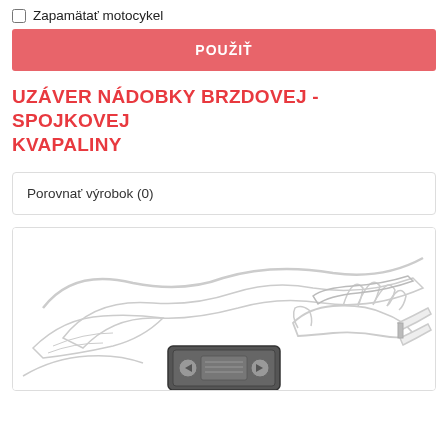Zapamätať motocykel
POUŽIŤ
UZÁVER NÁDOBKY BRZDOVEJ - SPOJKOVEJ KVAPALINY
Porovnať výrobok (0)
[Figure (illustration): Line-art illustration of a motorcycle handlebar area with a hand holding a device, showing brake/clutch fluid reservoir components. A small device with navigation arrows is visible at the bottom center.]